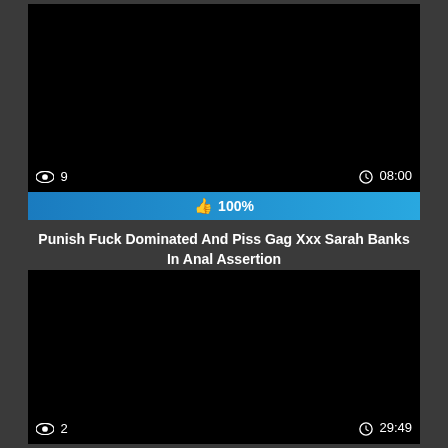[Figure (screenshot): Black video thumbnail with view count 9 and duration 08:00]
👁 9   🕐 08:00
👍 100%
Punish Fuck Dominated And Piss Gag Xxx Sarah Banks In Anal Assertion
[Figure (screenshot): Second black video thumbnail with view count and duration 29:49]